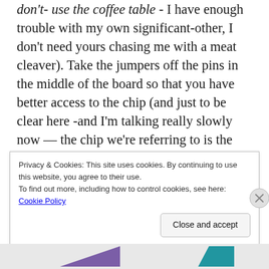don't- use the coffee table - I have enough trouble with my own significant-other, I don't need yours chasing me with a meat cleaver). Take the jumpers off the pins in the middle of the board so that you have better access to the chip (and just to be clear here -and I'm talking really slowly now — the chip we're referring to is the black square, about the size of the nail on your little finger, with 32 pretty little legs, sitting squat in the middle of the board, between the jumper block and that oh-so-annoying beeper). Now take your craft knife and cut every single
Privacy & Cookies: This site uses cookies. By continuing to use this website, you agree to their use.
To find out more, including how to control cookies, see here: Cookie Policy
Close and accept